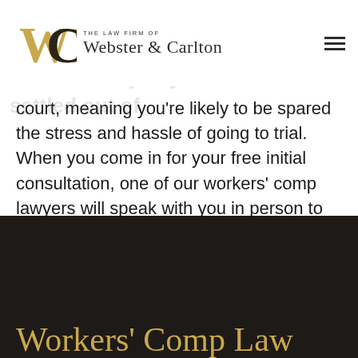The Law Firm of Webster & Carlton
The vast majority of our cases are settled out of court, meaning you're likely to be spared the stress and hassle of going to trial. When you come in for your free initial consultation, one of our workers' comp lawyers will speak with you in person to help you understand your rights and get the compensation you deserve.
Workers' Comp Law